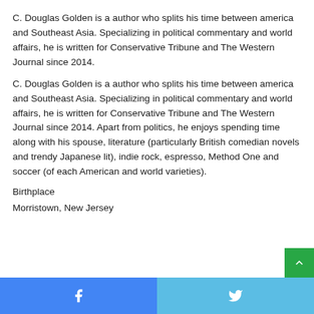C. Douglas Golden is a author who splits his time between america and Southeast Asia. Specializing in political commentary and world affairs, he is written for Conservative Tribune and The Western Journal since 2014.
C. Douglas Golden is a author who splits his time between america and Southeast Asia. Specializing in political commentary and world affairs, he is written for Conservative Tribune and The Western Journal since 2014. Apart from politics, he enjoys spending time along with his spouse, literature (particularly British comedian novels and trendy Japanese lit), indie rock, espresso, Method One and soccer (of each American and world varieties).
Birthplace
Morristown, New Jersey